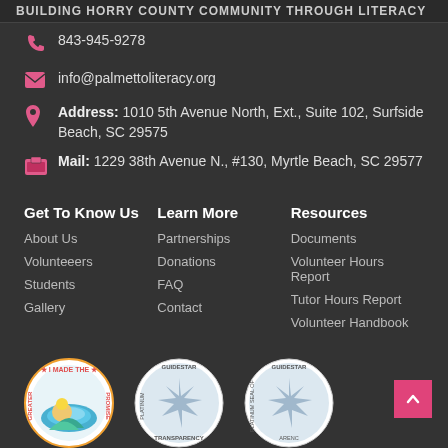BUILDING HORRY COUNTY COMMUNITY THROUGH LITERACY
843-945-9278
info@palmettoliteracy.org
Address: 1010 5th Avenue North, Ext., Suite 102, Surfside Beach, SC 29575
Mail: 1229 38th Avenue N., #130, Myrtle Beach, SC 29577
Get To Know Us
About Us
Volunteeers
Students
Gallery
Learn More
Partnerships
Donations
FAQ
Contact
Resources
Documents
Volunteer Hours Report
Tutor Hours Report
Volunteer Handbook
[Figure (logo): I Made The Greater Promise circular badge with ocean/sunrise illustration]
[Figure (logo): GuideStar Platinum Transparency seal circular badge]
[Figure (logo): GuideStar Platinum Seal of Transparency circular badge]